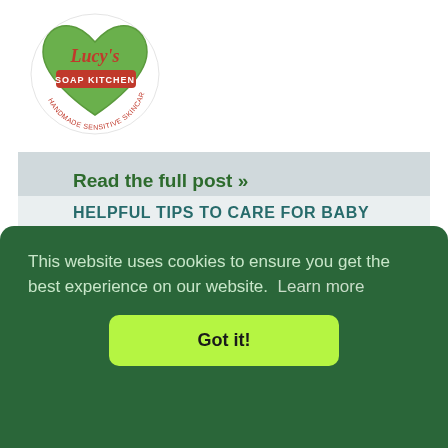[Figure (logo): Lucy's Soap Kitchen logo — a green heart with the text 'Lucy's' in cursive and 'Soap Kitchen' on a red banner, with 'Handmade Sensitive Skincare' around the bottom]
Read the full post »
Listed under:  0 Comments
"How To..." - D.I.Y Natural Skincare Recipes & Tips
This website uses cookies to ensure you get the best experience on our website.  Learn more
Got it!
HELPFUL TIPS TO CARE FOR BABY